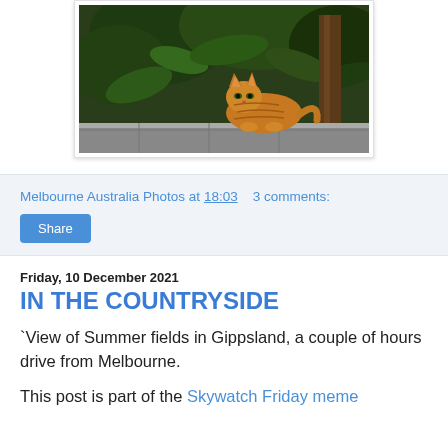[Figure (photo): Orange tabby cat sitting on a stone ledge surrounded by lush green foliage and trees]
Melbourne Australia Photos at 18:03    3 comments:
Share
Friday, 10 December 2021
IN THE COUNTRYSIDE
`View of Summer fields in Gippsland, a couple of hours drive from Melbourne.
This post is part of the Skywatch Friday meme